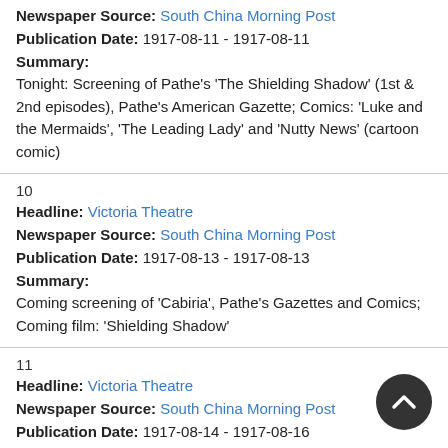Newspaper Source: South China Morning Post
Publication Date: 1917-08-11 - 1917-08-11
Summary:
Tonight: Screening of Pathe's 'The Shielding Shadow' (1st & 2nd episodes), Pathe's American Gazette; Comics: 'Luke and the Mermaids', 'The Leading Lady' and 'Nutty News' (cartoon comic)
10
Headline: Victoria Theatre
Newspaper Source: South China Morning Post
Publication Date: 1917-08-13 - 1917-08-13
Summary:
Coming screening of 'Cabiria', Pathe's Gazettes and Comics; Coming film: 'Shielding Shadow'
11
Headline: Victoria Theatre
Newspaper Source: South China Morning Post
Publication Date: 1917-08-14 - 1917-08-16
Summary:
Screening of 'Cabiria', Pathe's Gazettes and Comics; Coming film: